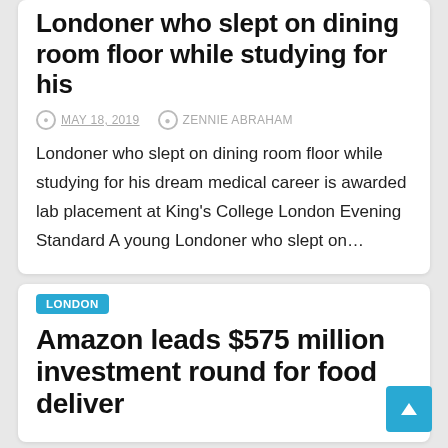Londoner who slept on dining room floor while studying for his
MAY 18, 2019   ZENNIE ABRAHAM
Londoner who slept on dining room floor while studying for his dream medical career is awarded lab placement at King's College London Evening Standard A young Londoner who slept on…
LONDON
Amazon leads $575 million investment round for food deliver